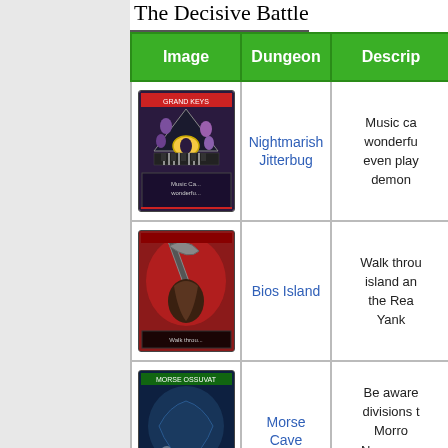The Decisive Battle
| Image | Dungeon | Description |
| --- | --- | --- |
| [card image: Nightmarish Jitterbug] | Nightmarish Jitterbug | Music ca... wonderfu... even play... demon... |
| [card image: Bios Island] | Bios Island | Walk throu... island an... the Rea... Yank... |
| [card image: Morse Cave] | Morse Cave | Be aware... divisions t... Morro... Necroman... cause to... |